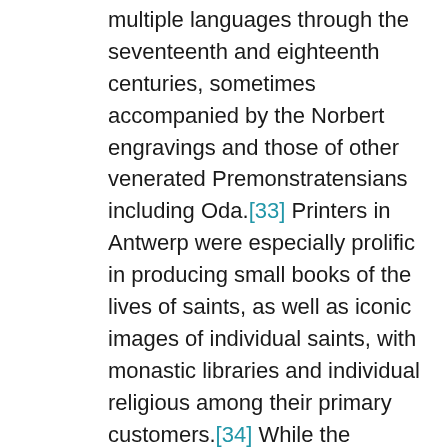multiple languages through the seventeenth and eighteenth centuries, sometimes accompanied by the Norbert engravings and those of other venerated Premonstratensians including Oda.[33] Printers in Antwerp were especially prolific in producing small books of the lives of saints, as well as iconic images of individual saints, with monastic libraries and individual religious among their primary customers.[34] While the commissions for images of other Premonstratensian saints are not documented like the images of Norbert, the similar format and style suggest that the image of the five virgins was created close to the same time, that is, in the early 1620s. An early version of the tree was commissioned by Jan Maes, then Prior of Park, in 1617.[35] Several different